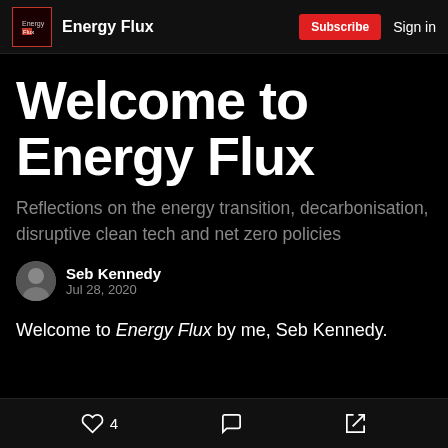Energy Flux | Subscribe | Sign in
Welcome to Energy Flux
Reflections on the energy transition, decarbonisation, disruptive clean tech and net zero policies
Seb Kennedy
Jul 28, 2020
Welcome to Energy Flux by me, Seb Kennedy.
4  [comment]  [share]